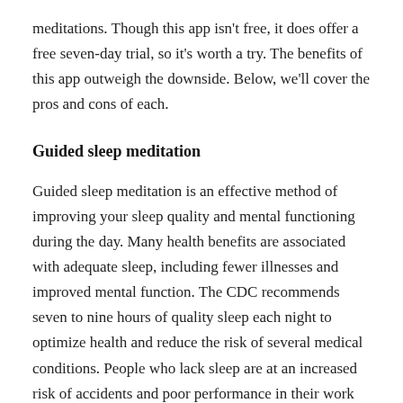meditations. Though this app isn't free, it does offer a free seven-day trial, so it's worth a try. The benefits of this app outweigh the downside. Below, we'll cover the pros and cons of each.
Guided sleep meditation
Guided sleep meditation is an effective method of improving your sleep quality and mental functioning during the day. Many health benefits are associated with adequate sleep, including fewer illnesses and improved mental function. The CDC recommends seven to nine hours of quality sleep each night to optimize health and reduce the risk of several medical conditions. People who lack sleep are at an increased risk of accidents and poor performance in their work and daily lives. Similarly, individuals who work in the